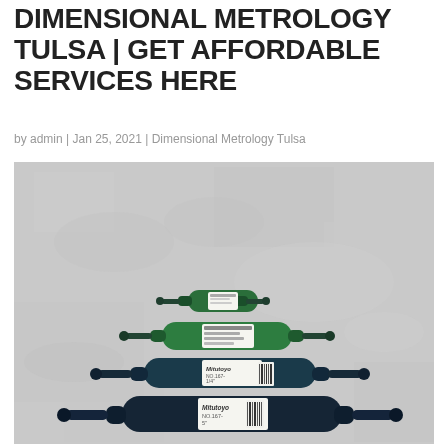DIMENSIONAL METROLOGY TULSA | GET AFFORDABLE SERVICES HERE
by admin | Jan 25, 2021 | Dimensional Metrology Tulsa
[Figure (photo): Photo of multiple Mitutoyo plug gauges/pin gauges in green and dark teal/black arranged on a gray concrete surface. The gauges vary in size from small to large, stacked in a fan-like pattern. Labels visible include 'Mitutoyo', 'NO.167-', '1/4"', '5"'.]